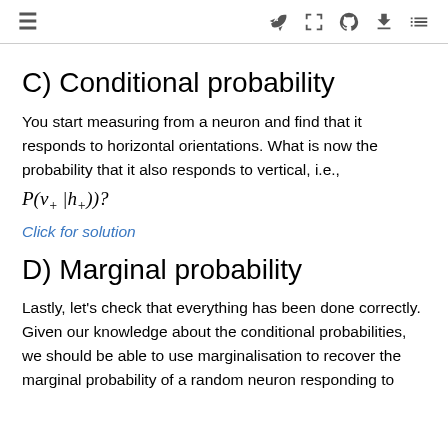≡  🚀 □ ⌂ ⬇ ≡
C) Conditional probability
You start measuring from a neuron and find that it responds to horizontal orientations. What is now the probability that it also responds to vertical, i.e.,
Click for solution
D) Marginal probability
Lastly, let's check that everything has been done correctly. Given our knowledge about the conditional probabilities, we should be able to use marginalisation to recover the marginal probability of a random neuron responding to